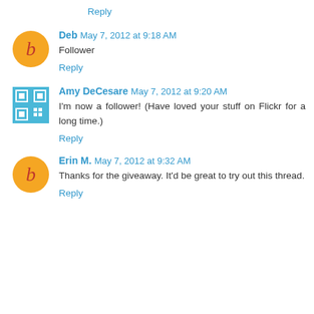Reply
Deb May 7, 2012 at 9:18 AM
Follower
Reply
Amy DeCesare May 7, 2012 at 9:20 AM
I'm now a follower! (Have loved your stuff on Flickr for a long time.)
Reply
Erin M. May 7, 2012 at 9:32 AM
Thanks for the giveaway. It'd be great to try out this thread.
Reply